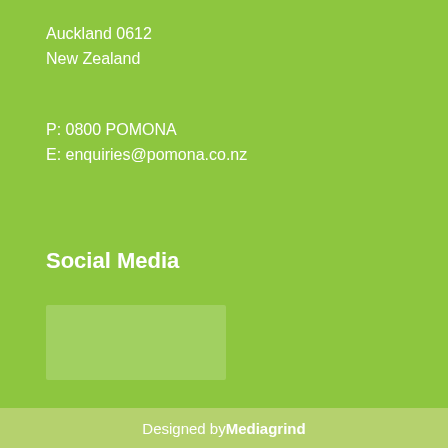Auckland 0612
New Zealand
P: 0800 POMONA
E: enquiries@pomona.co.nz
Social Media
[Figure (other): A light-colored rectangular placeholder box, likely a social media widget or image placeholder]
Designed by Mediagrind